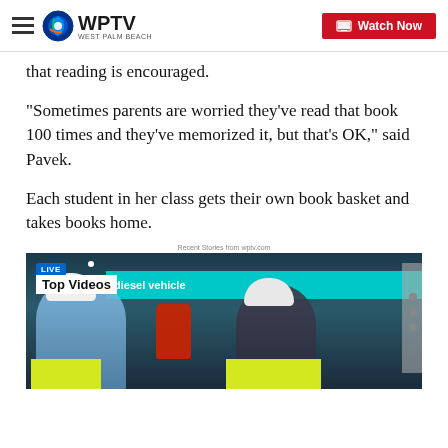WPTV West Palm Beach — Watch Now
that reading is encouraged.
"Sometimes parents are worried they've read that book 100 times and they've memorized it, but that's OK," said Pavek.
Each student in her class gets their own book basket and takes books home.
Recent Stories from wptv.com
[Figure (screenshot): Video thumbnail showing two workers in yellow safety vests and white hard hats near a vehicle. A LIVE badge and 'Top Videos' label overlay the image, with text 'diesel vehicle' visible on a teal banner.]